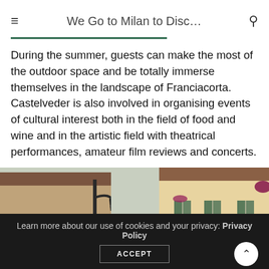We Go to Milan to Disc…
During the summer, guests can make the most of the outdoor space and be totally immerse themselves in the landscape of Franciacorta. Castelveder is also involved in organising events of cultural interest both in the field of food and wine and in the artistic field with theatrical performances, amateur film reviews and concerts.
[Figure (photo): Street view of an Italian village with terracotta-roofed buildings, a wrought-iron street lamp on the left, and pale yellow buildings with green shutters on the right.]
Learn more about our use of cookies and your privacy: Privacy Policy
ACCEPT